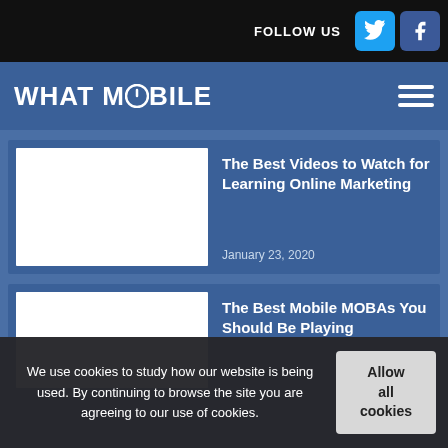FOLLOW US
WHAT MOBILE
The Best Videos to Watch for Learning Online Marketing
January 23, 2020
The Best Mobile MOBAs You Should Be Playing
We use cookies to study how our website is being used. By continuing to browse the site you are agreeing to our use of cookies.